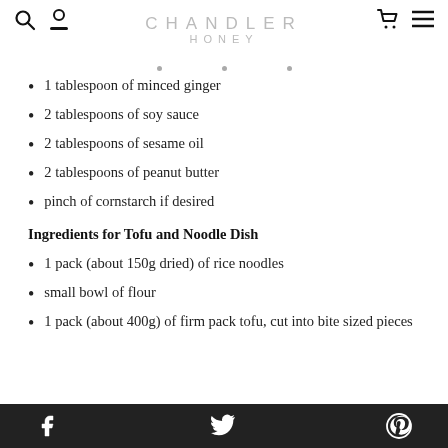CHANDLER HONEY
1 tablespoon of minced ginger
2 tablespoons of soy sauce
2 tablespoons of sesame oil
2 tablespoons of peanut butter
pinch of cornstarch if desired
Ingredients for Tofu and Noodle Dish
1 pack (about 150g dried) of rice noodles
small bowl of flour
1 pack (about 400g) of firm pack tofu, cut into bite sized pieces
Facebook | Twitter | Pinterest